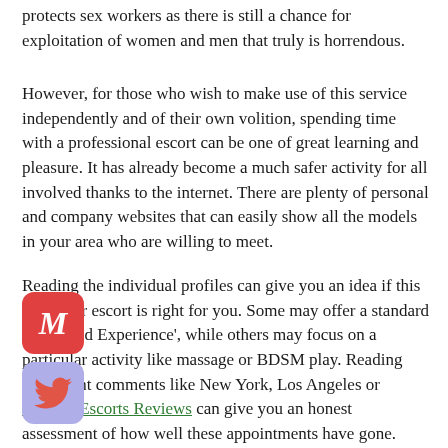protects sex workers as there is still a chance for exploitation of women and men that truly is horrendous.
However, for those who wish to make use of this service independently and of their own volition, spending time with a professional escort can be one of great learning and pleasure. It has already become a much safer activity for all involved thanks to the internet. There are plenty of personal and company websites that can easily show all the models in your area who are willing to meet.
Reading the individual profiles can give you an idea if this particular escort is right for you. Some may offer a standard 'Girlfriend Experience', while others may focus on a particular activity like massage or BDSM play. Reading past client comments like New York, Los Angeles or London Escorts Reviews can give you an honest assessment of how well these appointments have gone.